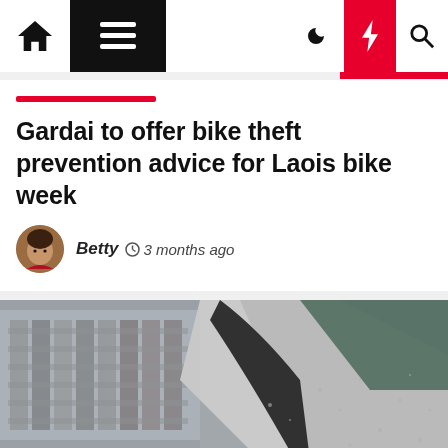Navigation bar with home, menu, dark mode, lightning, and search icons
Gardai to offer bike theft prevention advice for Laois bike week
Betty  3 months ago
[Figure (photo): Close-up photograph of a wet, frosted car door and window, with a blurred building facade in the background]